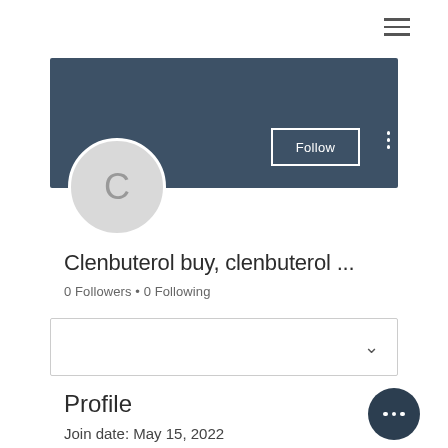[Figure (screenshot): Hamburger menu icon with three horizontal lines]
[Figure (illustration): Dark blue-grey banner/cover photo area]
Follow
[Figure (illustration): User avatar circle with letter C]
Clenbuterol buy, clenbuterol ...
0 Followers • 0 Following
[Figure (other): Dropdown selector box with chevron]
Profile
Join date: May 15, 2022
[Figure (other): Floating action button with three dots]